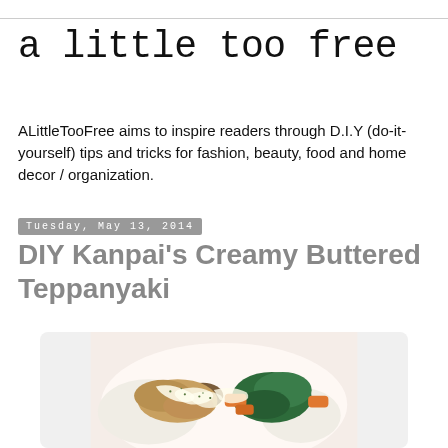a little too free
ALittleTooFree aims to inspire readers through D.I.Y (do-it-yourself) tips and tricks for fashion, beauty, food and home decor / organization.
Tuesday, May 13, 2014
DIY Kanpai's Creamy Buttered Teppanyaki
[Figure (photo): A plate of Japanese teppanyaki dish with creamy butter sauce drizzled over chicken or seafood, served with spinach, carrots, mushrooms, and white rice on a white plate.]